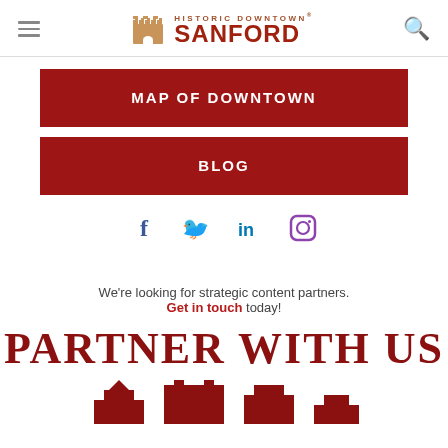Historic Downtown Sanford
MAP OF DOWNTOWN
BLOG
[Figure (illustration): Social media icons: Facebook (f), Twitter (bird), LinkedIn (in), Instagram (camera)]
We're looking for strategic content partners. Get in touch today!
PARTNER WITH US
[Figure (illustration): Partial illustration of building/house shape at bottom of page, in dark red]